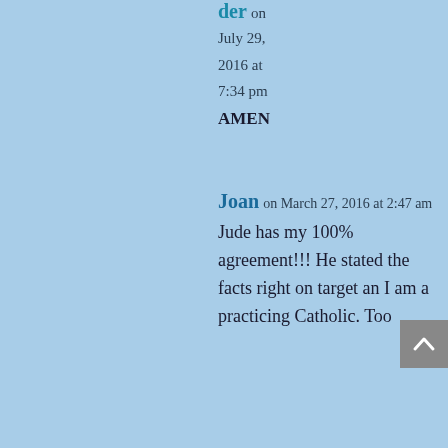der on July 29, 2016 at 7:34 pm
AMEN
Joan on March 27, 2016 at 2:47 am
Jude has my 100% agreement!!! He stated the facts right on target an I am a practicing Catholic. Too